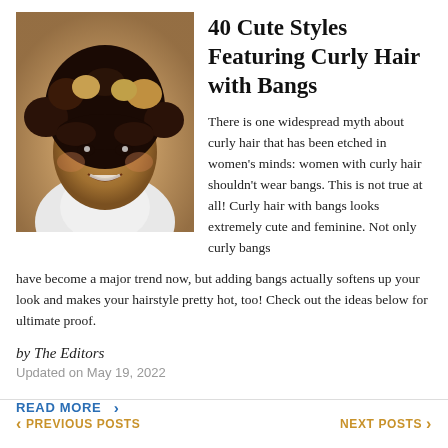[Figure (photo): Woman with short curly brown hair with highlights and bangs, smiling, wearing white top, photographed against a light background]
40 Cute Styles Featuring Curly Hair with Bangs
There is one widespread myth about curly hair that has been etched in women's minds: women with curly hair shouldn't wear bangs. This is not true at all! Curly hair with bangs looks extremely cute and feminine. Not only curly bangs have become a major trend now, but adding bangs actually softens up your look and makes your hairstyle pretty hot, too! Check out the ideas below for ultimate proof.
by The Editors
Updated on May 19, 2022
READ MORE ›
PREVIOUS POSTS   NEXT POSTS